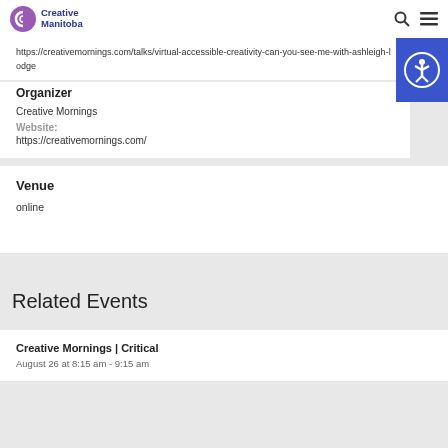Creative Manitoba
https://creativemornings.com/talks/virtual-accessible-creativity-can-you-see-me-with-ashleigh-lodge
Organizer
Creative Mornings
Website: https://creativemornings.com/
Venue
online
Related Events
Creative Mornings | Critical
August 26 at 8:15 am - 9:15 am